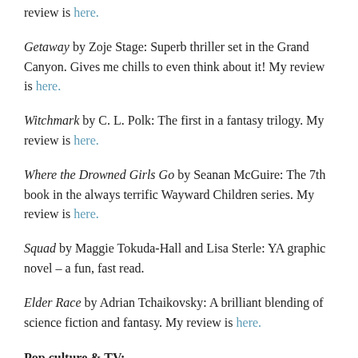review is here.
Getaway by Zoje Stage: Superb thriller set in the Grand Canyon. Gives me chills to even think about it! My review is here.
Witchmark by C. L. Polk: The first in a fantasy trilogy. My review is here.
Where the Drowned Girls Go by Seanan McGuire: The 7th book in the always terrific Wayward Children series. My review is here.
Squad by Maggie Tokuda-Hall and Lisa Sterle: YA graphic novel – a fun, fast read.
Elder Race by Adrian Tchaikovsky: A brilliant blending of science fiction and fantasy. My review is here.
Pop culture & TV:
Nothing super special this week — just more episodes of the ongoing